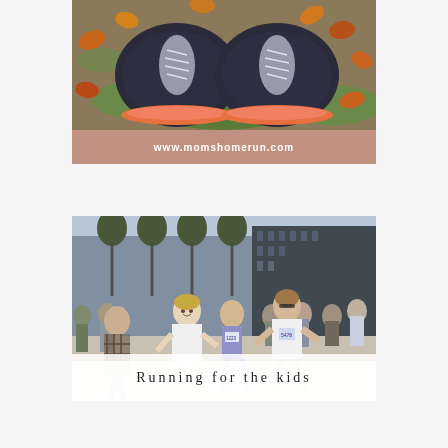[Figure (photo): Overhead view of dark blue/black running shoes with pink accents resting on autumn leaves and grass, with a mauve/pink banner below reading www.momshomerun.com]
www.momshomerun.com
[Figure (photo): Crowd of runners in a city race event, several wearing numbered bibs (1223, 5478), city buildings in background, with overlaid white caption bar reading 'Running for the kids']
Running for the kids